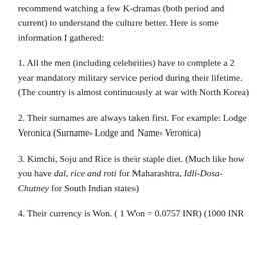recommend watching a few K-dramas (both period and current) to understand the culture better. Here is some information I gathered:
1. All the men (including celebrities) have to complete a 2 year mandatory military service period during their lifetime. (The country is almost continuously at war with North Korea)
2. Their surnames are always taken first. For example: Lodge Veronica (Surname- Lodge and Name- Veronica)
3. Kimchi, Soju and Rice is their staple diet. (Much like how you have dal, rice and roti for Maharashtra, Idli-Dosa-Chutney for South Indian states)
4. Their currency is Won. ( 1 Won = 0.0757 INR) (1000 INR